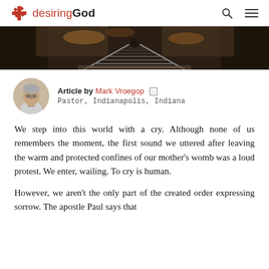desiringGod
[Figure (photo): Aerial or perspective view of railway tracks receding into the distance, surrounded by autumn foliage and dark forest]
Article by Mark Vroegop
Pastor, Indianapolis, Indiana
We step into this world with a cry. Although none of us remembers the moment, the first sound we uttered after leaving the warm and protected confines of our mother's womb was a loud protest. We enter, wailing. To cry is human.
However, we aren't the only part of the created order expressing sorrow. The apostle Paul says that